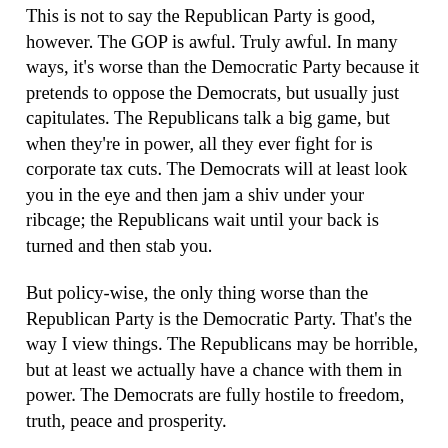This is not to say the Republican Party is good, however. The GOP is awful. Truly awful. In many ways, it's worse than the Democratic Party because it pretends to oppose the Democrats, but usually just capitulates. The Republicans talk a big game, but when they're in power, all they ever fight for is corporate tax cuts. The Democrats will at least look you in the eye and then jam a shiv under your ribcage; the Republicans wait until your back is turned and then stab you.
But policy-wise, the only thing worse than the Republican Party is the Democratic Party. That's the way I view things. The Republicans may be horrible, but at least we actually have a chance with them in power. The Democrats are fully hostile to freedom, truth, peace and prosperity.
At least with the Republicans there are some decent politicians in the party. And the core supporters of the party is...